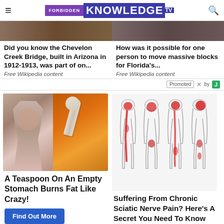FORBIDDEN KNOWLEDGE TV
[Figure (photo): Thumbnail image of Chevelon Creek Bridge]
Did you know the Chevelon Creek Bridge, built in Arizona in 1912-1913, was part of on...
Free Wikipedia content
[Figure (photo): Thumbnail image related to Florida massive blocks]
How was it possible for one person to move massive blocks for Florida's...
Free Wikipedia content
Promoted  X  by J
[Figure (photo): Ad image: woman fitness and spice/turmeric on spoon collage]
A Teaspoon On An Empty Stomach Burns Fat Like Crazy!
Find Out More
[Figure (illustration): Medical illustration showing sciatic nerve pain in legs from multiple angles with red highlighted pain areas]
Suffering From Chronic Sciatic Nerve Pain? Here's A Secret You Need To Know
Find Out More